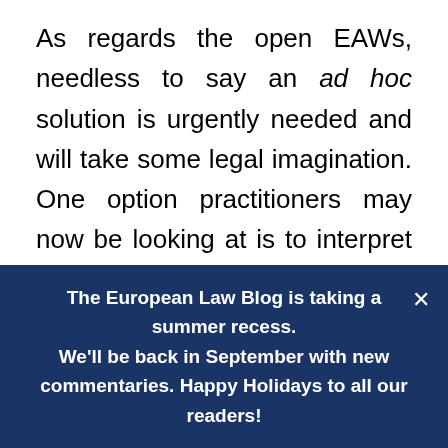As regards the open EAWs, needless to say an ad hoc solution is urgently needed and will take some legal imagination. One option practitioners may now be looking at is to interpret the patchy German legal framework on the EAW in the light of the new judgement. German law does not specify explicitly who is responsible for issuing EAWs. Therefore, it could be argued that for the time being, German judges or courts can issue EAWs instead of the prosecutors' offices following the CJEU's judgement.
The European Law Blog is taking a summer recess. We'll be back in September with new commentaries. Happy Holidays to all our readers!